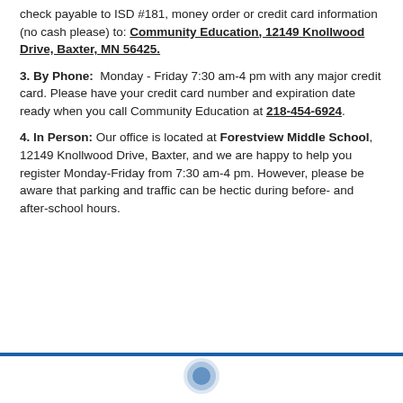check payable to ISD #181, money order or credit card information (no cash please) to: Community Education, 12149 Knollwood Drive, Baxter, MN 56425.
3. By Phone: Monday - Friday 7:30 am-4 pm with any major credit card. Please have your credit card number and expiration date ready when you call Community Education at 218-454-6924.
4. In Person: Our office is located at Forestview Middle School, 12149 Knollwood Drive, Baxter, and we are happy to help you register Monday-Friday from 7:30 am-4 pm. However, please be aware that parking and traffic can be hectic during before- and after-school hours.